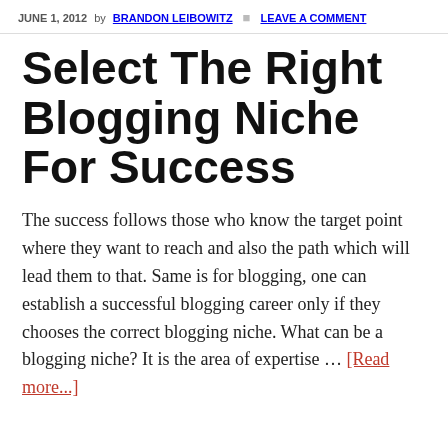JUNE 1, 2012 by BRANDON LEIBOWITZ | LEAVE A COMMENT
Select The Right Blogging Niche For Success
The success follows those who know the target point where they want to reach and also the path which will lead them to that. Same is for blogging, one can establish a successful blogging career only if they chooses the correct blogging niche. What can be a blogging niche? It is the area of expertise … [Read more...]